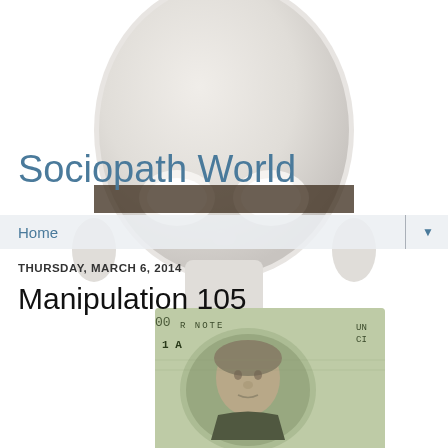[Figure (illustration): A white mannequin face/mask overlaid with a $100 US dollar bill covering the mouth area. The image shows a featureless white mask face with empty eye holes, and a detailed $100 bill (showing Benjamin Franklin's portrait) placed over the lower portion of the face like a mouth covering. Background is white.]
Sociopath World
Home
THURSDAY, MARCH 6, 2014
Manipulation 105